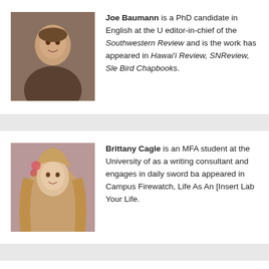[Figure (photo): Headshot of Joe Baumann, a young man]
Joe Baumann is a PhD candidate in English at the U editor-in-chief of the Southwestern Review and is the work has appeared in Hawai'i Review, SNReview, Sle Bird Chapbooks.
[Figure (photo): Photo of Brittany Cagle, a young woman with long blonde hair]
Brittany Cagle is an MFA student at the University of as a writing consultant and engages in daily sword ba appeared in Campus Firewatch, Life As An [Insert Lab Your Life.
[Figure (photo): Photo of Erin Cisney, a woman with light hair]
Erin Cisney is a graduate of Franklin and Marshall C two sons.